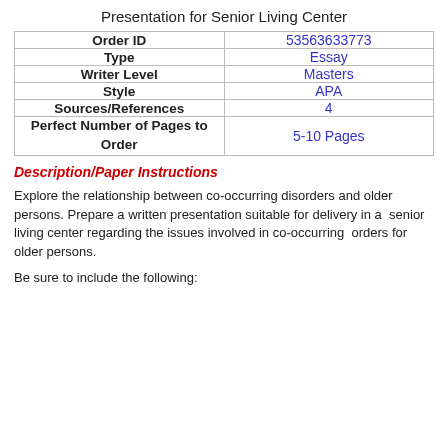Presentation for Senior Living Center
|  |  |
| --- | --- |
| Order ID | 53563633773 |
| Type | Essay |
| Writer Level | Masters |
| Style | APA |
| Sources/References | 4 |
| Perfect Number of Pages to Order | 5-10 Pages |
Description/Paper Instructions
Explore the relationship between co-occurring disorders and older persons. Prepare a written presentation suitable for delivery in a senior living center regarding the issues involved in co-occurring orders for older persons.
Be sure to include the following: